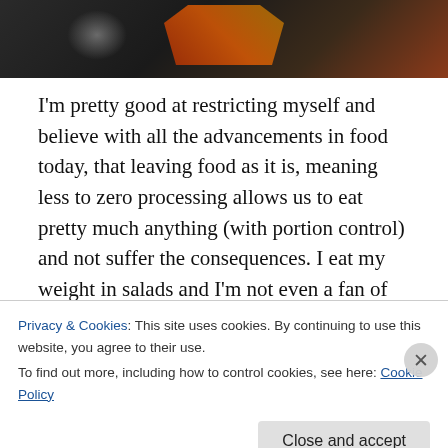[Figure (photo): Dark background photo showing food items, partially visible at top of page]
I'm pretty good at restricting myself and believe with all the advancements in food today, that leaving food as it is, meaning less to zero processing allows us to eat pretty much anything (with portion control) and not suffer the consequences. I eat my weight in salads and I'm not even a fan of most dressings, as I think they tend to drown the freshness out of the produce as it is. I love avocados and find them to be nature's dressing. They are creamy and
Privacy & Cookies: This site uses cookies. By continuing to use this website, you agree to their use.
To find out more, including how to control cookies, see here: Cookie Policy